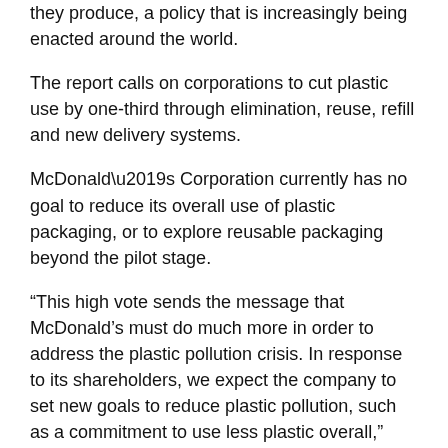they produce, a policy that is increasingly being enacted around the world.
The report calls on corporations to cut plastic use by one-third through elimination, reuse, refill and new delivery systems.
McDonald’s Corporation currently has no goal to reduce its overall use of plastic packaging, or to explore reusable packaging beyond the pilot stage.
“This high vote sends the message that McDonald’s must do much more in order to address the plastic pollution crisis. In response to its shareholders, we expect the company to set new goals to reduce plastic pollution, such as a commitment to use less plastic overall,” commented Kelly McBee, waste program coordinator at As You Sow.
McDonald’s is notably absent from the New Plastics Economy Global Commitment, the largest pre-competitive corporate movement to address plastic pollution.
The company also lagged its corporate peers, receiving a D-grade in As You Sow’s Corporate Plastic Pollution Scorecard, which ranks 50 of the largest fast-moving consumer goods companies on their commitment to address plastic pollution.